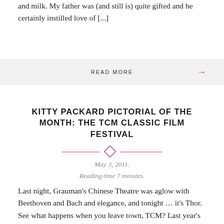and milk. My father was (and still is) quite gifted and he certainly instilled love of [...]
READ MORE →
KITTY PACKARD PICTORIAL OF THE MONTH: THE TCM CLASSIC FILM FESTIVAL
May 3, 2011.
Reading time 7 minutes.
Last night, Grauman's Chinese Theatre was aglow with Beethoven and Bach and elegance, and tonight … it's Thor. See what happens when you leave town, TCM? Last year's was fun… this year's festival was special. Building on last year's framework, what was noticeable this year was a close-knit sense of community. This shared, communal